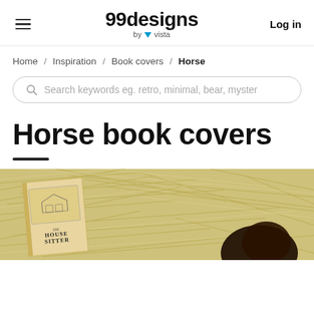99designs by vista | Log in
Home / Inspiration / Book covers / Horse
Search keywords eg. retro, minimal, bear, myster
Horse book covers
[Figure (photo): Book cover photo of 'The House Sitter' on a straw/hay background]